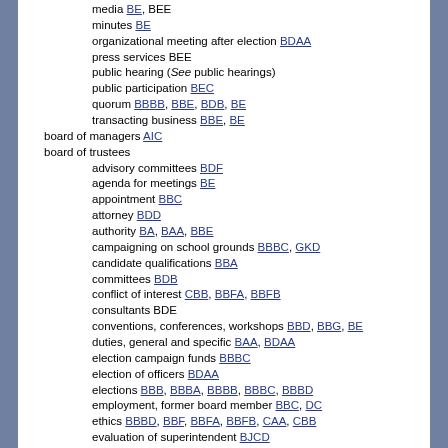media BE, BEE
minutes BE
organizational meeting after election BDAA
press services BEE
public hearing (See public hearings)
public participation BEC
quorum BBBB, BBE, BDB, BE
transacting business BBE, BE
board of managers AIC
board of trustees
advisory committees BDF
agenda for meetings BE
appointment BBC
attorney BDD
authority BA, BAA, BBE
campaigning on school grounds BBBC, GKD
candidate qualifications BBA
committees BDB
conflict of interest CBB, BBFA, BBFB
consultants BDE
conventions, conferences, workshops BBD, BBG, BE
duties, general and specific BAA, BDAA
election campaign funds BBBC
election of officers BDAA
elections BBB, BBBA, BBBB, BBBC, BBBD
employment, former board member BBC, DC
ethics BBBD, BBF, BBFA, BBFB, CAA, CBB
evaluation of superintendent BJCD
expense reimbursement BBG, DEE